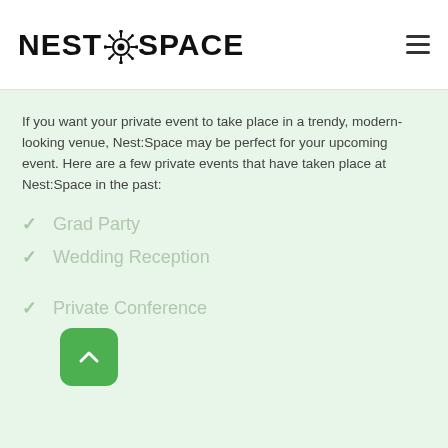NEST:SPACE
If you want your private event to take place in a trendy, modern-looking venue, Nest:Space may be perfect for your upcoming event. Here are a few private events that have taken place at Nest:Space in the past:
Grad Party
Wedding Reception
Private Conference